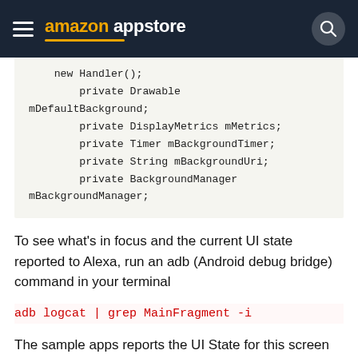amazon appstore
new Handler();
    private Drawable mDefaultBackground;
    private DisplayMetrics mMetrics;
    private Timer mBackgroundTimer;
    private String mBackgroundUri;
    private BackgroundManager mBackgroundManager;
To see what's in focus and the current UI state reported to Alexa, run an adb (Android debug bridge) command in your terminal
adb logcat | grep MainFragment -i
The sample apps reports the UI State for this screen to Alexa whenever the customer makes a